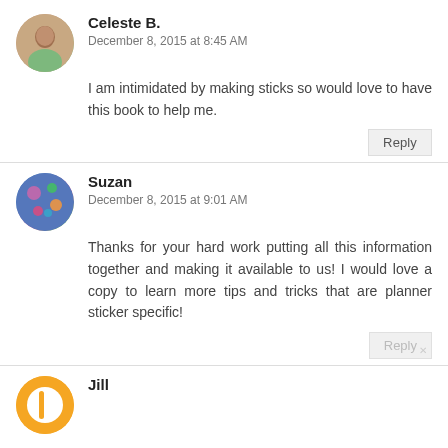Celeste B.
December 8, 2015 at 8:45 AM
I am intimidated by making sticks so would love to have this book to help me.
Reply
Suzan
December 8, 2015 at 9:01 AM
Thanks for your hard work putting all this information together and making it available to us! I would love a copy to learn more tips and tricks that are planner sticker specific!
Reply
Jill